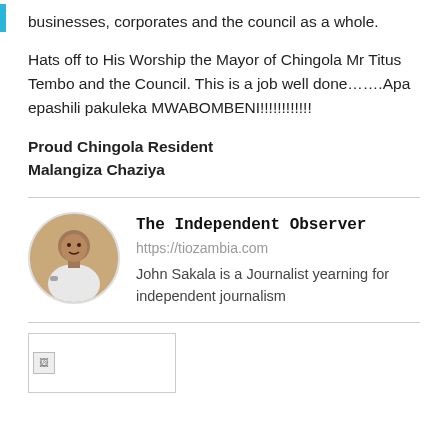businesses, corporates and the council as a whole.
Hats off to His Worship the Mayor of Chingola Mr Titus Tembo and the Council. This is a job well done…….Apa epashili pakuleka MWABOMBENI!!!!!!!!!!!!
Proud Chingola Resident
Malangiza Chaziya
[Figure (photo): Circular avatar photo of John Sakala, a journalist]
The Independent Observer
https://tiozambia.com
John Sakala is a Journalist yearning for independent journalism
[Figure (photo): Broken/missing image placeholder at bottom of page]